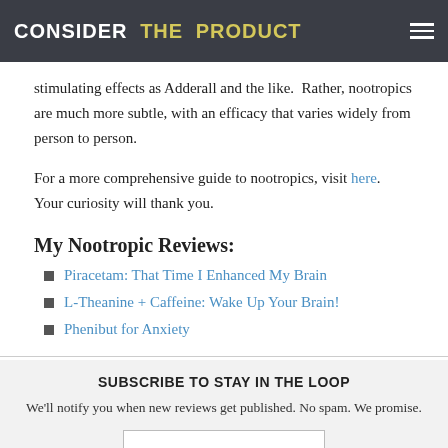CONSIDER THE PRODUCT
stimulating effects as Adderall and the like.  Rather, nootropics are much more subtle, with an efficacy that varies widely from person to person.
For a more comprehensive guide to nootropics, visit here.  Your curiosity will thank you.
My Nootropic Reviews:
Piracetam: That Time I Enhanced My Brain
L-Theanine + Caffeine: Wake Up Your Brain!
Phenibut for Anxiety
SUBSCRIBE TO STAY IN THE LOOP
We'll notify you when new reviews get published. No spam. We promise.